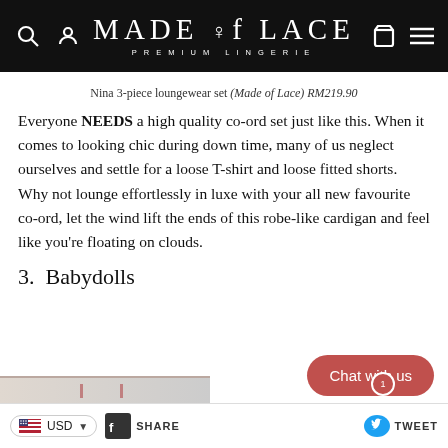MADE of LACE PREMIUM LINGERIE
Nina 3-piece loungewear set (Made of Lace) RM219.90
Everyone NEEDS a high quality co-ord set just like this. When it comes to looking chic during down time, many of us neglect ourselves and settle for a loose T-shirt and loose fitted shorts. Why not lounge effortlessly in luxe with your all new favourite co-ord, let the wind lift the ends of this robe-like cardigan and feel like you're floating on clouds.
3.  Babydolls
USD  SHARE  TWEET